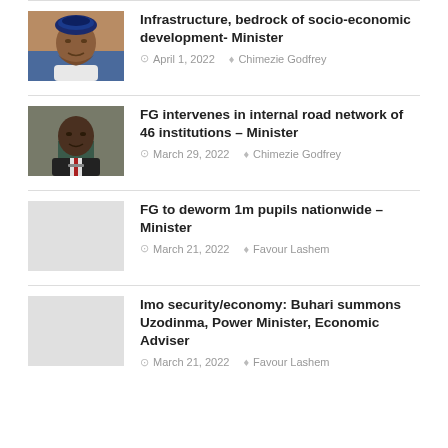[Figure (photo): Photo of a man in Nigerian traditional cap and white outfit]
Infrastructure, bedrock of socio-economic development- Minister
April 1, 2022  Chimezie Godfrey
[Figure (photo): Photo of a man in dark suit at a podium]
FG intervenes in internal road network of 46 institutions – Minister
March 29, 2022  Chimezie Godfrey
[Figure (photo): Placeholder grey image]
FG to deworm 1m pupils nationwide – Minister
March 21, 2022  Favour Lashem
[Figure (photo): Placeholder grey image]
Imo security/economy: Buhari summons Uzodinma, Power Minister, Economic Adviser
March 21, 2022  Favour Lashem